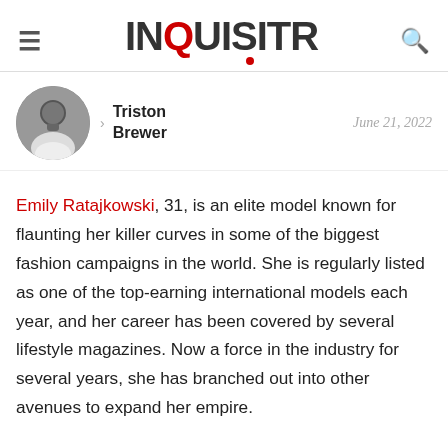INQUISITR
[Figure (photo): Circular grayscale headshot of author Triston Brewer]
Triston Brewer  June 21, 2022
Emily Ratajkowski, 31, is an elite model known for flaunting her killer curves in some of the biggest fashion campaigns in the world. She is regularly listed as one of the top-earning international models each year, and her career has been covered by several lifestyle magazines. Now a force in the industry for several years, she has branched out into other avenues to expand her empire.